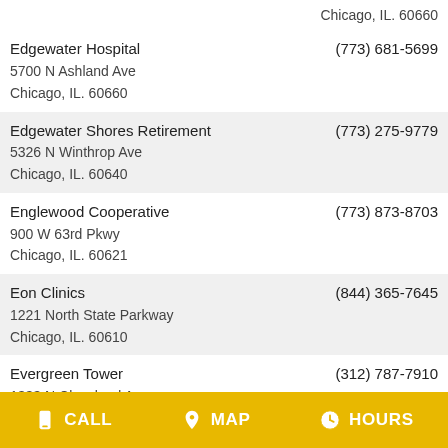| Name / Address | Phone |
| --- | --- |
| Chicago, IL. 60660 |  |
| Edgewater Hospital
5700 N Ashland Ave
Chicago, IL. 60660 | (773) 681-5699 |
| Edgewater Shores Retirement
5326 N Winthrop Ave
Chicago, IL. 60640 | (773) 275-9779 |
| Englewood Cooperative
900 W 63rd Pkwy
Chicago, IL. 60621 | (773) 873-8703 |
| Eon Clinics
1221 North State Parkway
Chicago, IL. 60610 | (844) 365-7645 |
| Evergreen Tower
1333 N Cleveland Ave
Chicago, IL. 60610 | (312) 787-7910 |
| Fairmont Care Ctr
5061 N Pulaski Rd
Chicago, IL. 60630 | (773) 604-8112 |
| Family Health Wicker Park
1520 N Damen Ave # A | (773) 278-5633 |
CALL  MAP  HOURS